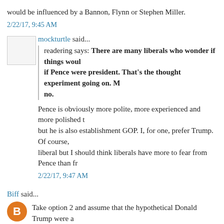would be influenced by a Bannon, Flynn or Stephen Miller.
2/22/17, 9:45 AM
mockturtle said...
readering says: There are many liberals who wonder if things would be better if Pence were president. That's the thought experiment going on. My answer: no.
Pence is obviously more polite, more experienced and more polished than Trump, but he is also establishment GOP. I, for one, prefer Trump. Of course, I am not a liberal but I should think liberals have more to fear from Pence than fr...
2/22/17, 9:47 AM
Biff said...
Take option 2 and assume that the hypothetical Donald Trump were a woman. Better yet, a woman of color. How would the "Trump Haters" react in this scenario?
I can say President Good-bye-r Blaze with peculiar positions Id...